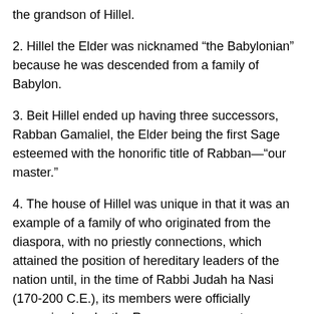the grandson of Hillel.
2. Hillel the Elder was nicknamed “the Babylonian” because he was descended from a family of Babylon.
3. Beit Hillel ended up having three successors, Rabban Gamaliel, the Elder being the first Sage esteemed with the honorific title of Rabban—“our master.”
4. The house of Hillel was unique in that it was an example of a family of who originated from the diaspora, with no priestly connections, which attained the position of hereditary leaders of the nation until, in the time of Rabbi Judah ha Nasi (170-200 C.E.), its members were officially recognized as by the Roman government as Patriarchs.
5. Beit Hillel ended up having three successors, Rabban